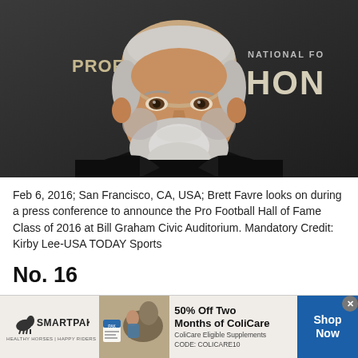[Figure (photo): Brett Favre smiling at a press conference, wearing a dark blazer, with gray/silver hair and beard. Background shows Pro Football Hall of Fame signage.]
Feb 6, 2016; San Francisco, CA, USA; Brett Favre looks on during a press conference to announce the Pro Football Hall of Fame Class of 2016 at Bill Graham Civic Auditorium. Mandatory Credit: Kirby Lee-USA TODAY Sports
No. 16
[Figure (advertisement): SmartPak advertisement: 50% Off Two Months of ColiCare. ColiCare Eligible Supplements. CODE: COLICARE10. Shop Now button.]